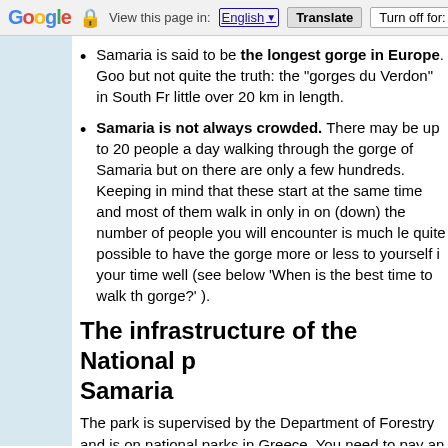Google | View this page in: English | Translate | Turn off for: G
Samaria is said to be the longest gorge in Europe. Goo but not quite the truth: the "gorges du Verdon" in South Fr little over 20 km in length.
Samaria is not always crowded. There may be up to 20 people a day walking through the gorge of Samaria but on there are only a few hundreds. Keeping in mind that these start at the same time and most of them walk in only in one (down) the number of people you will encounter is much le quite possible to have the gorge more or less to yourself if your time well (see below 'When is the best time to walk th gorge?' ).
The infrastructure of the National p Samaria
The park is supervised by the Department of Forestry and is on national parks in Greece. You need to pay an entrance fee of 5 children under 15).
The path is maintained and is substantially better than "no mountain paths in Crete.
There are wardens along the way (in radio contact with ea will help you in case of trouble or injury.